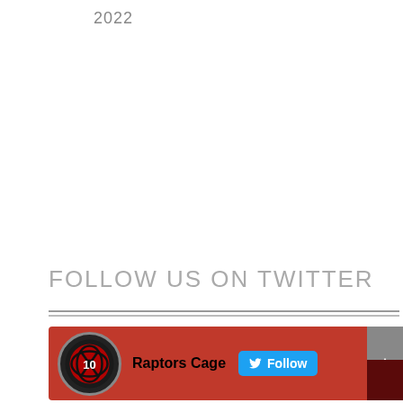2022
FOLLOW US ON TWITTER
[Figure (screenshot): Twitter follow widget showing Raptors Cage account with a Follow button on a red background]